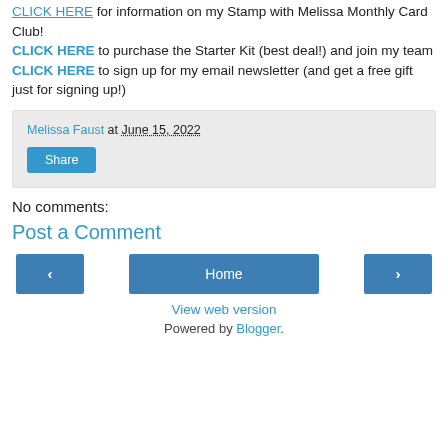CLICK HERE for information on my Stamp with Melissa Monthly Card Club! CLICK HERE to purchase the Starter Kit (best deal!) and join my team CLICK HERE to sign up for my email newsletter (and get a free gift just for signing up!)
Melissa Faust at June 15, 2022
Share
No comments:
Post a Comment
< Home > View web version Powered by Blogger.